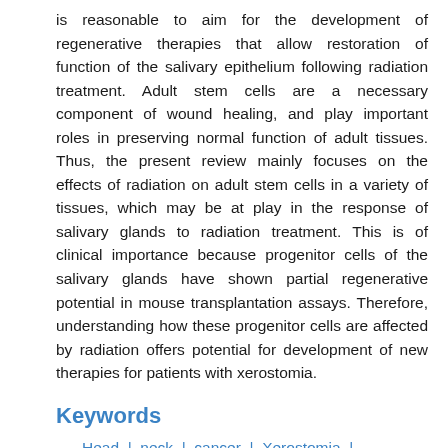is reasonable to aim for the development of regenerative therapies that allow restoration of function of the salivary epithelium following radiation treatment. Adult stem cells are a necessary component of wound healing, and play important roles in preserving normal function of adult tissues. Thus, the present review mainly focuses on the effects of radiation on adult stem cells in a variety of tissues, which may be at play in the response of salivary glands to radiation treatment. This is of clinical importance because progenitor cells of the salivary glands have shown partial regenerative potential in mouse transplantation assays. Therefore, understanding how these progenitor cells are affected by radiation offers potential for development of new therapies for patients with xerostomia.
Keywords
Head | neck | cancer | Xerostomia |